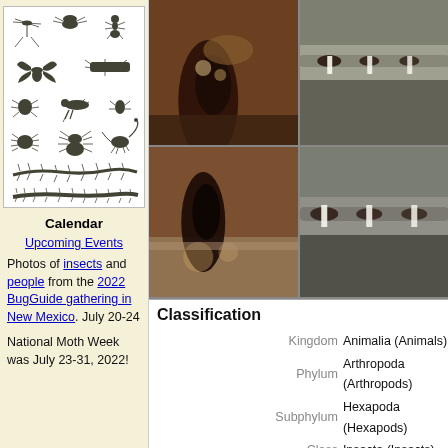[Figure (illustration): Collection of insect silhouettes including crane fly, beetles, ants, winged insects, grasshopper, spider, scorpion, centipede, and millipede arranged in a grid pattern on white background]
Calendar
Upcoming Events
Photos of insects and people from the 2022 BugGuide gathering in New Mexico. July 20-24
National Moth Week was July 23-31, 2022!
[Figure (photo): 2x2 grid of close-up macro photographs showing insects (likely treehoppers or similar Membracidae) on plant stems/branches. Top-left: dark insect on brown stem. Top-right: white waxy secretions on gray stem. Bottom-left: dark insect on textured bark. Bottom-right: white fluffy secretions on gray-brown stem.]
Classification
| Rank | Taxon |
| --- | --- |
| Kingdom | Animalia (Animals) |
| Phylum | Arthropoda (Arthropods) |
| Subphylum | Hexapoda (Hexapods) |
| Class | Insecta (Insects) |
| Order | Hemiptera (True Bugs, Ci… |
| Suborder | Auchenorrhyncha… |
| Infraorder | Cicadomorph… |
| Superfamily | Memb… |
| Family | Membr… |
| Subfamily |  |
| Tribe |  |